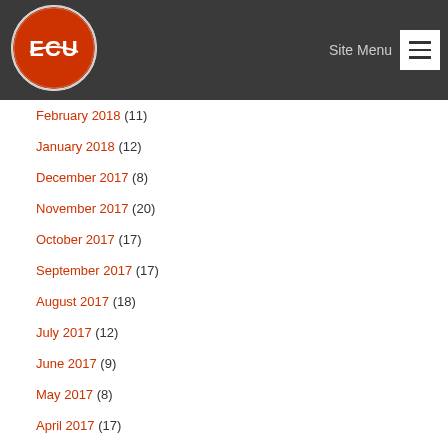[Figure (logo): East Central University (ECU) circular logo with red background, white ECU letters, Ada, Oklahoma]
Site Menu
February 2018 (11)
January 2018 (12)
December 2017 (8)
November 2017 (20)
October 2017 (17)
September 2017 (17)
August 2017 (18)
July 2017 (12)
June 2017 (9)
May 2017 (8)
April 2017 (17)
March 2017 (11)
February 2017 (12)